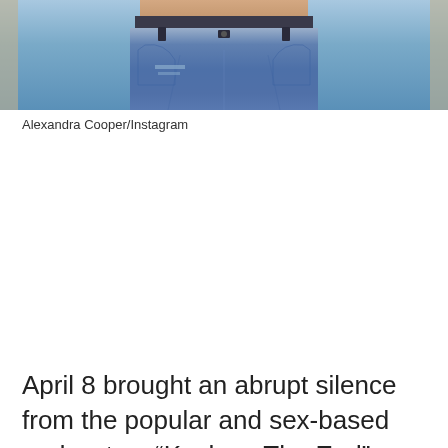[Figure (photo): Cropped photo showing the torso and lower body of a person wearing blue jeans, taken indoors. Photo credited to Alexandra Cooper/Instagram.]
Alexandra Cooper/Instagram
April 8 brought an abrupt silence from the popular and sex-based podcast as “Kesha…The End” was published with seemingly no follow-up – since